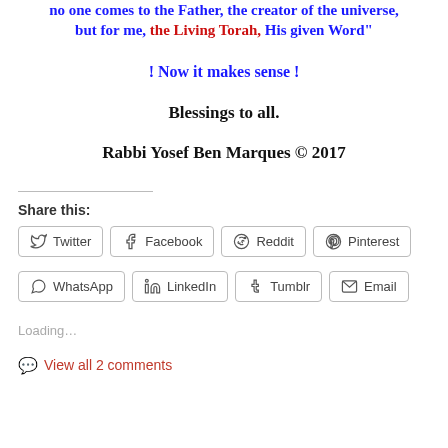no one comes to the Father, the creator of the universe, but for me, the Living Torah, His given Word"
! Now it makes sense !
Blessings to all.
Rabbi Yosef Ben Marques © 2017
Share this:
Twitter  Facebook  Reddit  Pinterest  WhatsApp  LinkedIn  Tumblr  Email
Loading...
View all 2 comments